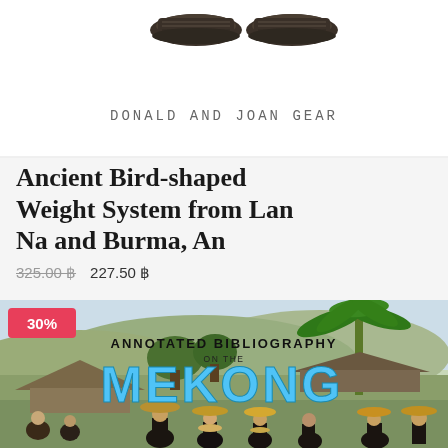[Figure (photo): Top portion of a book cover showing two dark bird-shaped opium weights and the text DONALD AND JOAN GEAR below them on a white background]
Ancient Bird-shaped Weight System from Lan Na and Burma, An
325.00 ฿  227.50 ฿
[Figure (photo): Book cover for 'Annotated Bibliography on the Mekong' showing a historical painting of Southeast Asian figures in a village scene with palm trees, mountains in background. A red badge reading '30%' is in the upper left corner.]